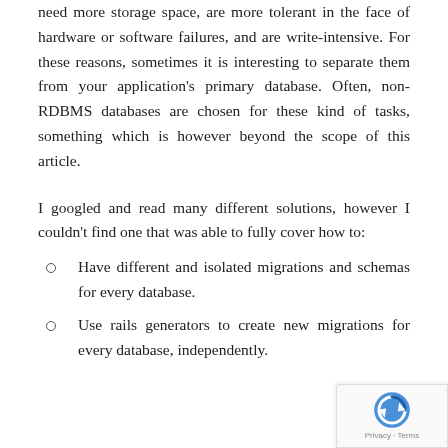need more storage space, are more tolerant in the face of hardware or software failures, and are write-intensive. For these reasons, sometimes it is interesting to separate them from your application's primary database. Often, non-RDBMS databases are chosen for these kind of tasks, something which is however beyond the scope of this article.
I googled and read many different solutions, however I couldn't find one that was able to fully cover how to:
Have different and isolated migrations and schemas for every database.
Use rails generators to create new migrations for every database, independently.